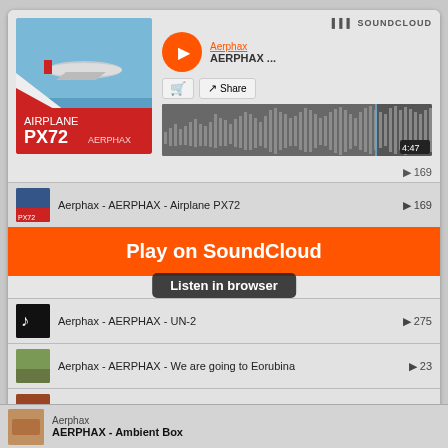[Figure (screenshot): SoundCloud web player showing Aerphax - AERPHAX - Airplane PX72 track with album art, waveform, playlist, and Play on SoundCloud overlay button]
Aerphax
AERPHAX ...
4:47
▶ 169
Aerphax - AERPHAX - Airplane PX72 ▶ 169
Play on SoundCloud
Listen in browser
Aerphax - AERPHAX - UN-2 ▶ 275
Aerphax - AERPHAX - We are going to Eorubina ▶ 23
Aerphax - The Secret Box ▶ 201
Aerphax - Aerphax toxitan city area 49 ▶ 138
Aerphax - AERPHAX - Fly Away ▶ 120
Aerphax
AERPHAX - Ambient Box